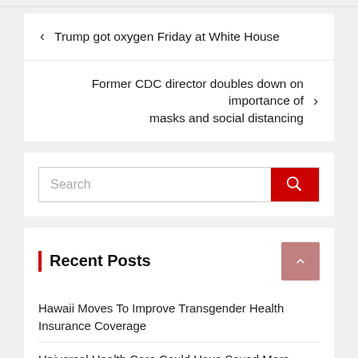< Trump got oxygen Friday at White House
Former CDC director doubles down on importance of masks and social distancing >
[Figure (screenshot): Search input box with red search button]
Recent Posts
Hawaii Moves To Improve Transgender Health Insurance Coverage
Universal Health Care Could Have Saved More Than